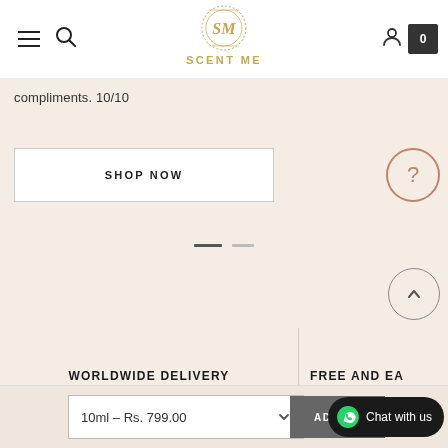SCENT ME — navigation header with logo, menu, search, account and cart icons
compliments. 10/10
SHOP NOW
WORLDWIDE DELIVERY
on all orders
FREE AND EA...
valid
10ml – Rs. 799.00
ADD TO...
Chat with us